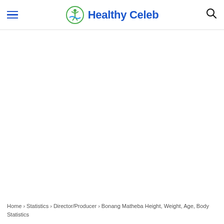Healthy Celeb
Home › Statistics › Director/Producer › Bonang Matheba Height, Weight, Age, Body Statistics